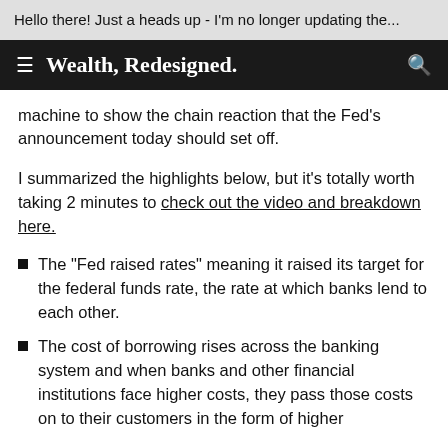Hello there! Just a heads up - I'm no longer updating the...
Wealth, Redesigned.
machine to show the chain reaction that the Fed's announcement today should set off.
I summarized the highlights below, but it's totally worth taking 2 minutes to check out the video and breakdown here.
The "Fed raised rates" meaning it raised its target for the federal funds rate, the rate at which banks lend to each other.
The cost of borrowing rises across the banking system and when banks and other financial institutions face higher costs, they pass those costs on to their customers in the form of higher